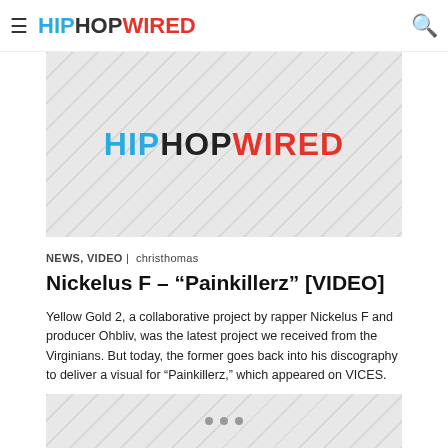HIPHOPWIRED
[Figure (logo): HipHopWired logo placeholder image with diagonal stripe pattern background]
NEWS, VIDEO | christhomas
Nickelus F – “Painkillerz” [VIDEO]
Yellow Gold 2, a collaborative project by rapper Nickelus F and producer Ohbliv, was the latest project we received from the Virginians. But today, the former goes back into his discography to deliver a visual for “Painkillerz,” which appeared on VICES.
[Figure (photo): Bottom image placeholder with diagonal stripe pattern and three dot carousel indicators]